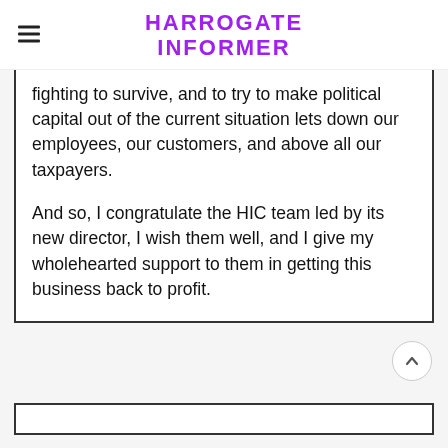HARROGATE INFORMER
fighting to survive, and to try to make political capital out of the current situation lets down our employees, our customers, and above all our taxpayers.
And so, I congratulate the HIC team led by its new director, I wish them well, and I give my wholehearted support to them in getting this business back to profit.